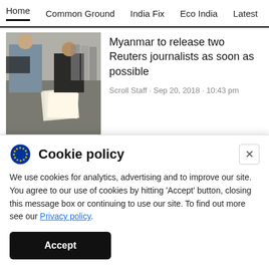Home  Common Ground  India Fix  Eco India  Latest  Th
Myanmar to release two Reuters journalists as soon as possible
Scroll Staff · Sep 20, 2018 · 10:43 pm
[Figure (photo): Two men sitting at a desk with papers and computers in an office environment]
Aung San Suu Kyi's global image takes another beating as Myanmar
[Figure (photo): Gray placeholder thumbnail for second article]
Cookie policy
We use cookies for analytics, advertising and to improve our site. You agree to our use of cookies by hitting 'Accept' button, closing this message box or continuing to use our site. To find out more see our Privacy policy.
Accept